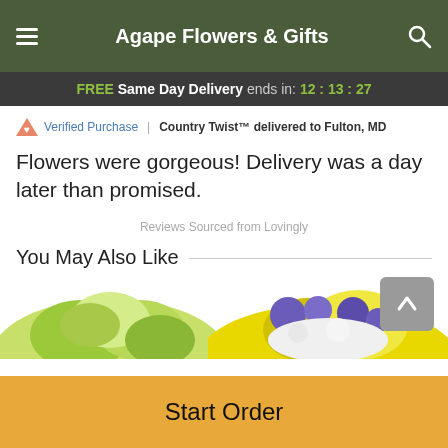Agape Flowers & Gifts
FREE Same Day Delivery ends in: 12:13:27
Verified Purchase | Country Twist™ delivered to Fulton, MD
Flowers were gorgeous! Delivery was a day later than promised.
Reviews Sourced from Lovingly
You May Also Like
[Figure (photo): Flower arrangements partially visible at bottom of page]
Start Order